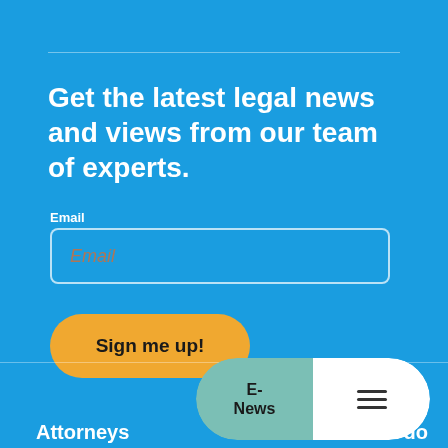Get the latest legal news and views from our team of experts.
Email
Email
Sign me up!
E-News
Attorneys
What we do